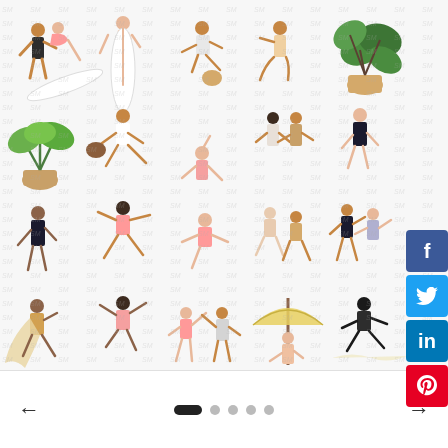[Figure (illustration): Grid of flat-style beach and summer illustrations showing people surfing, playing, dancing, doing yoga, carrying surfboards, plants, and beach accessories. Watermark pattern overlay. Social media share buttons (Facebook, Twitter, LinkedIn, Pinterest) on the right side. Navigation arrows and pagination dots at bottom.]
[Figure (other): Social media share buttons: Facebook (blue), Twitter (light blue), LinkedIn (dark blue), Pinterest (red)]
[Figure (other): Carousel navigation: left arrow, five pagination dots (first dot active/elongated), right arrow]